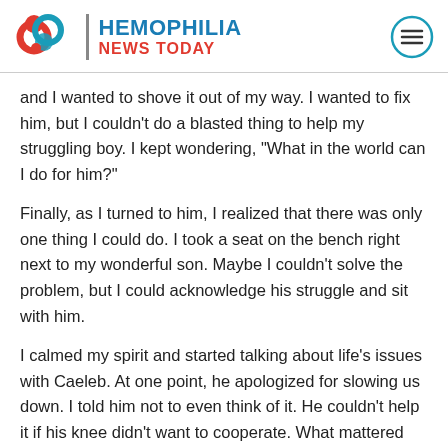HEMOPHILIA NEWS TODAY
and I wanted to shove it out of my way. I wanted to fix him, but I couldn’t do a blasted thing to help my struggling boy. I kept wondering, “What in the world can I do for him?”
Finally, as I turned to him, I realized that there was only one thing I could do. I took a seat on the bench right next to my wonderful son. Maybe I couldn’t solve the problem, but I could acknowledge his struggle and sit with him.
I calmed my spirit and started talking about life’s issues with Caeleb. At one point, he apologized for slowing us down. I told him not to even think of it. He couldn’t help it if his knee didn’t want to cooperate. What mattered was that he and I spent time together. As a result, he would defeat this